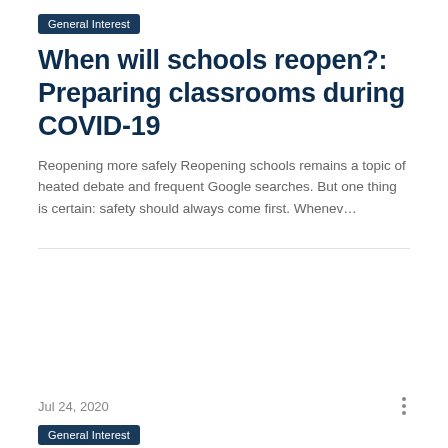General Interest
When will schools reopen?: Preparing classrooms during COVID-19
Reopening more safely Reopening schools remains a topic of heated debate and frequent Google searches. But one thing is certain: safety should always come first. Whenev…
Jul 24, 2020
General Interest